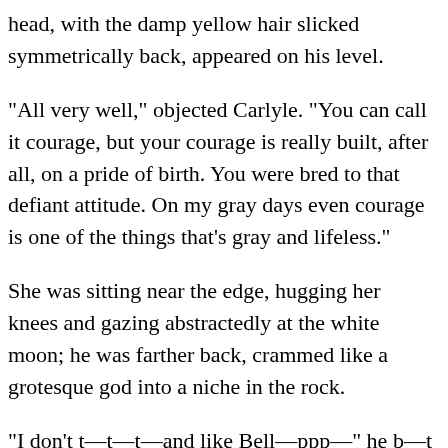head, with the damp yellow hair slicked symmetrically back, appeared on his level.
"All very well," objected Carlyle. "You can call it courage, but your courage is really built, after all, on a pride of birth. You were bred to that defiant attitude. On my gray days even courage is one of the things that’s gray and lifeless."
She was sitting near the edge, hugging her knees and gazing abstractedly at the white moon; he was farther back, crammed like a grotesque god into a niche in the rock.
"I don’t t—t—t—and like Bell—ppp—" he b—t—t—ll t—